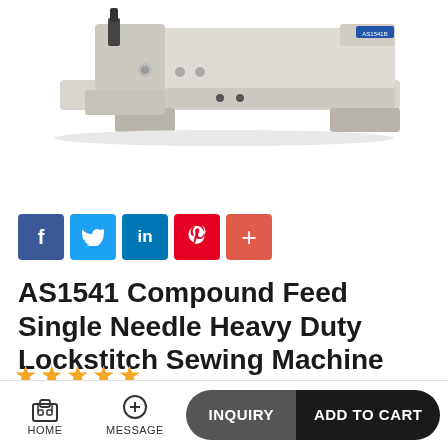[Figure (photo): Photo of AS1541 Compound Feed Single Needle Heavy Duty Lockstitch Sewing Machine, showing the machine head from the side on a white background]
f  (Twitter)  in  (Pinterest)  +
AS1541 Compound Feed Single Needle Heavy Duty Lockstitch Sewing Machine
★★★★★
| ≥1 Pieces |  |
HOME   MESSAGE   INQUIRY   ADD TO CART